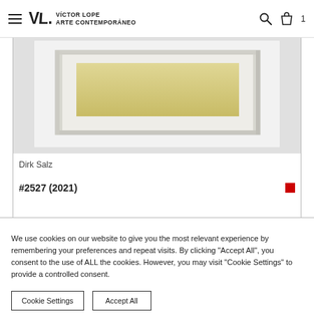Víctor Lope Arte Contemporáneo
[Figure (photo): Artwork photo showing a framed piece with yellowish/golden rectangular form on white background, displayed in a transparent/acrylic frame]
Dirk Salz
#2527 (2021)
We use cookies on our website to give you the most relevant experience by remembering your preferences and repeat visits. By clicking "Accept All", you consent to the use of ALL the cookies. However, you may visit "Cookie Settings" to provide a controlled consent.
Cookie Settings    Accept All